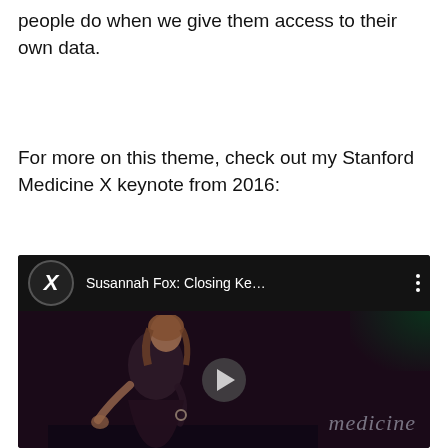people do when we give them access to their own data.
For more on this theme, check out my Stanford Medicine X keynote from 2016:
[Figure (screenshot): Embedded YouTube video thumbnail showing Susannah Fox giving a closing keynote at Stanford Medicine X. The video title bar reads 'Susannah Fox: Closing Ke…' with a Medicine X logo icon on the left and a vertical dots menu on the right. The thumbnail shows a woman on a dark stage with a play button overlay and 'medicine' watermark in the lower right.]